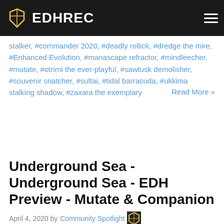EDHREC
stalker, #commander 2020, #deadly rollick, #dredge the mire, #Enhanced Evolution, #manascape refractor, #mindleecher, #mutate, #otrimi the ever-playful, #sawtusk demolisher, #souvenir snatcher, #sultai, #tidal barracuda, #ukkima stalking shadow, #zaxara the exemplary   Read More »
Underground Sea - Underground Sea - EDH Preview - Mutate & Companion
April 4, 2020 by Community Spotlight
Approfondimento sulle nuove abilità Mutate e Companion, introdotto nel nuovo set Ikoria: